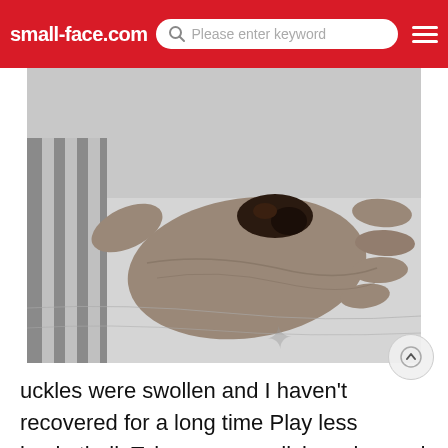small-face.com | Please enter keyword
[Figure (photo): Black and white close-up photograph of an injured hand with swollen, scabbed knuckles resting on a surface with striped fabric visible.]
uckles were swollen and I haven't recovered for a long time Play less basketball. Take some medicine wine and cotton to apply cold compress on the injured joint. Bend your fingers and press them with force. It hurts but it can prevent your